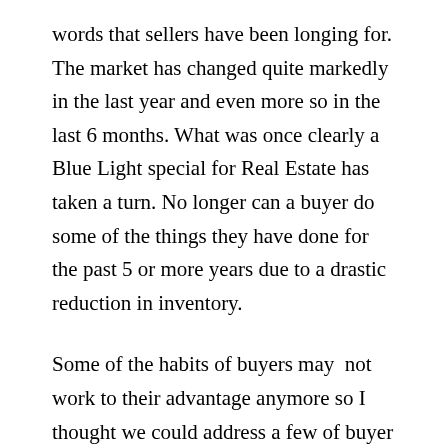words that sellers have been longing for. The market has changed quite markedly in the last year and even more so in the last 6 months. What was once clearly a Blue Light special for Real Estate has taken a turn. No longer can a buyer do some of the things they have done for the past 5 or more years due to a drastic reduction in inventory.
Some of the habits of buyers may not work to their advantage anymore so I thought we could address a few of buyer practices. The first one is those good ole low ball offers. There was once a time when the seller was so anxious about selling and competing with the short sales and foreclosures that they would bite their lips and counter those low ball offers. In the past few months I have seen many a seller just not even address the offer